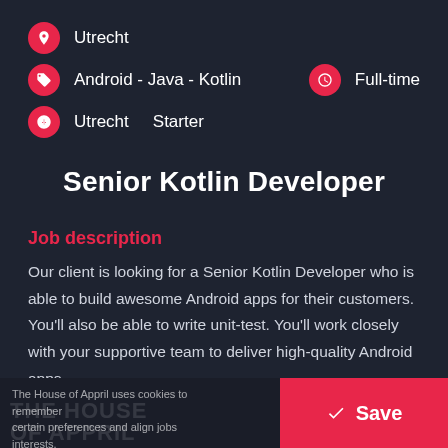Utrecht
Android - Java - Kotlin   Full-time
Utrecht   Starter
Senior Kotlin Developer
Job description
Our client is looking for a Senior Kotlin Developer who is able to build awesome Android apps for their customers. You'll also be able to write unit-test. You'll work closely with your supportive team to deliver high-quality Android apps.
The House of Appril uses cookies to remember certain preferences and align jobs interests.